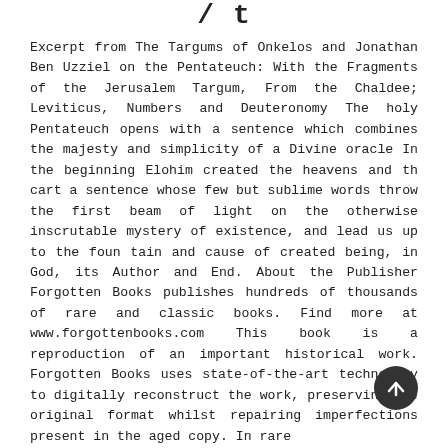/ t
Excerpt from The Targums of Onkelos and Jonathan Ben Uzziel on the Pentateuch: With the Fragments of the Jerusalem Targum, From the Chaldee; Leviticus, Numbers and Deuteronomy The holy Pentateuch opens with a sentence which combines the majesty and simplicity of a Divine oracle In the beginning Elohim created the heavens and th cart a sentence whose few but sublime words throw the first beam of light on the otherwise inscrutable mystery of existence, and lead us up to the foun tain and cause of created being, in God, its Author and End. About the Publisher Forgotten Books publishes hundreds of thousands of rare and classic books. Find more at www.forgottenbooks.com This book is a reproduction of an important historical work. Forgotten Books uses state-of-the-art technology to digitally reconstruct the work, preserving the original format whilst repairing imperfections present in the aged copy. In rare